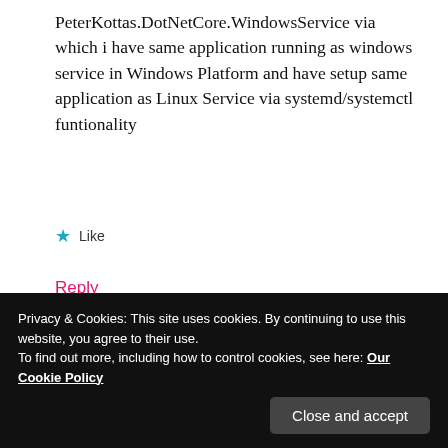PeterKottas.DotNetCore.WindowsService via which i have same application running as windows service in Windows Platform and have setup same application as Linux Service via systemd/systemctl funtionality
★ Like
Reply
Christian Nagel
OCTOBER 16, 2019 AT 10:34 AM
Privacy & Cookies: This site uses cookies. By continuing to use this website, you agree to their use.
To find out more, including how to control cookies, see here: Our Cookie Policy
Close and accept